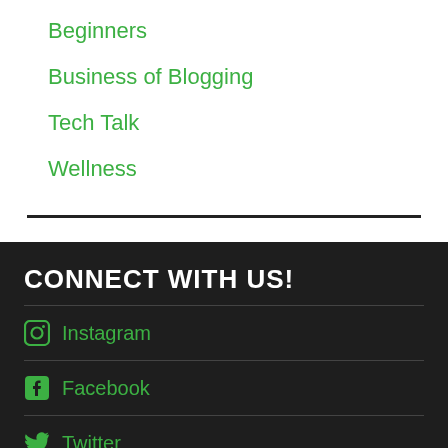Beginners
Business of Blogging
Tech Talk
Wellness
CONNECT WITH US!
Instagram
Facebook
Twitter